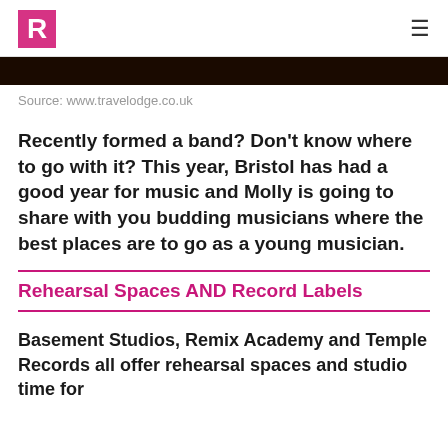R
[Figure (photo): Dark concert/event image strip at top of article]
Source: www.travelodge.co.uk
Recently formed a band? Don't know where to go with it? This year, Bristol has had a good year for music and Molly is going to share with you budding musicians where the best places are to go as a young musician.
Rehearsal Spaces AND Record Labels
Basement Studios, Remix Academy and Temple Records all offer rehearsal spaces and studio time for